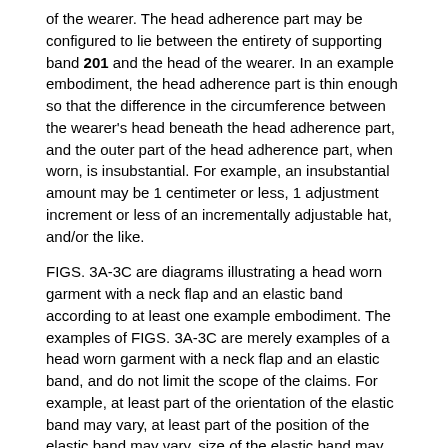of the wearer. The head adherence part may be configured to lie between the entirety of supporting band 201 and the head of the wearer. In an example embodiment, the head adherence part is thin enough so that the difference in the circumference between the wearer's head beneath the head adherence part, and the outer part of the head adherence part, when worn, is insubstantial. For example, an insubstantial amount may be 1 centimeter or less, 1 adjustment increment or less of an incrementally adjustable hat, and/or the like.
FIGS. 3A-3C are diagrams illustrating a head worn garment with a neck flap and an elastic band according to at least one example embodiment. The examples of FIGS. 3A-3C are merely examples of a head worn garment with a neck flap and an elastic band, and do not limit the scope of the claims. For example, at least part of the orientation of the elastic band may vary, at least part of the position of the elastic band may vary, size of the elastic band may vary, and/or the like.
In an example embodiment, the rear head adherence part has elasticity with a stronger restraining force than the front of the head adherence part. For example, the rear head adherence part may comprise at least one elastic band that has a stronger restraining force than the front head adherence part. Such an arrangement may provide strong elasticity without bunching material in the front head adherence part. A wearer may desire to avoid bunching at the front head adherence part because the front head...